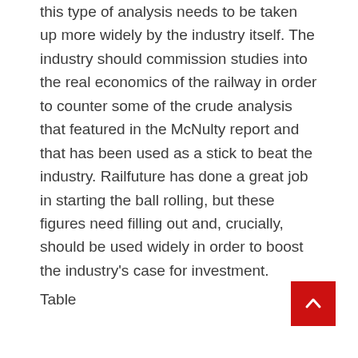this type of analysis needs to be taken up more widely by the industry itself. The industry should commission studies into the real economics of the railway in order to counter some of the crude analysis that featured in the McNulty report and that has been used as a stick to beat the industry. Railfuture has done a great job in starting the ball rolling, but these figures need filling out and, crucially, should be used widely in order to boost the industry's case for investment.
Table